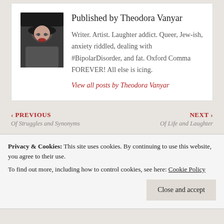[Figure (photo): Author photo: woman wearing a black hat and glasses, sitting in a car, red lipstick]
Published by Theodora Vanyar
Writer. Artist. Laughter addict. Queer, Jew-ish, anxiety riddled, dealing with #BipolarDisorder, and fat. Oxford Comma FOREVER! All else is icing.
View all posts by Theodora Vanyar
‹ PREVIOUS
Of Struggles and Synonyms
NEXT ›
Of Life and Laughter
Privacy & Cookies: This site uses cookies. By continuing to use this website, you agree to their use.
To find out more, including how to control cookies, see here: Cookie Policy
Close and accept